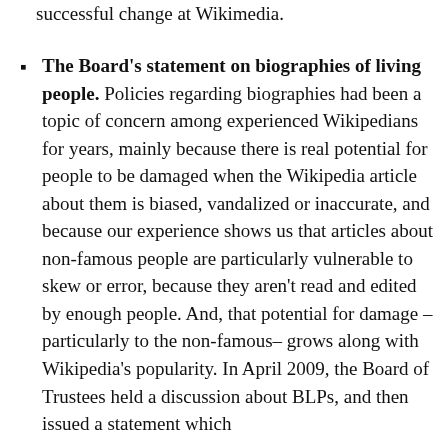successful change at Wikimedia.
The Board's statement on biographies of living people. Policies regarding biographies had been a topic of concern among experienced Wikipedians for years, mainly because there is real potential for people to be damaged when the Wikipedia article about them is biased, vandalized or inaccurate, and because our experience shows us that articles about non-famous people are particularly vulnerable to skew or error, because they aren't read and edited by enough people. And, that potential for damage –particularly to the non-famous– grows along with Wikipedia's popularity. In April 2009, the Board of Trustees held a discussion about BLPs, and then issued a statement which